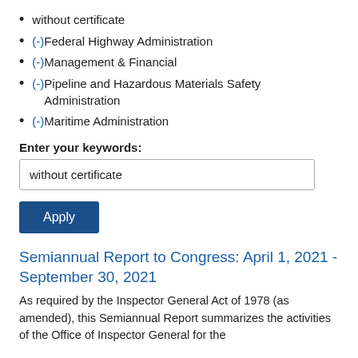without certificate
(-) Federal Highway Administration
(-) Management & Financial
(-) Pipeline and Hazardous Materials Safety Administration
(-) Maritime Administration
Enter your keywords:
without certificate
Apply
Semiannual Report to Congress: April 1, 2021 - September 30, 2021
As required by the Inspector General Act of 1978 (as amended), this Semiannual Report summarizes the activities of the Office of Inspector General for the